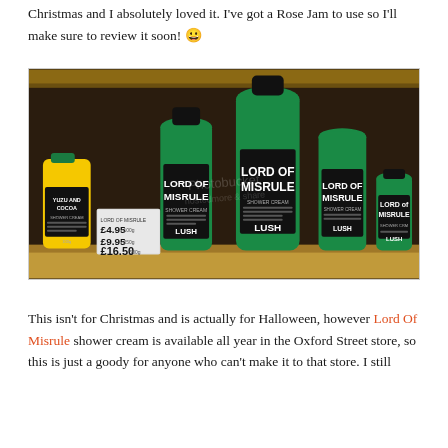Christmas and I absolutely loved it. I've got a Rose Jam to use so I'll make sure to review it soon! 😀
[Figure (photo): Shelf display of multiple Lush 'Lord of Misrule' shower cream bottles in various sizes alongside a yellow 'Yuzu and Cocoa' shower cream bottle, with a price tag showing £4.95, £9.95, £16.50. Products sit on a wooden shelf.]
This isn't for Christmas and is actually for Halloween, however Lord Of Misrule shower cream is available all year in the Oxford Street store, so this is just a goody for anyone who can't make it to that store. I still